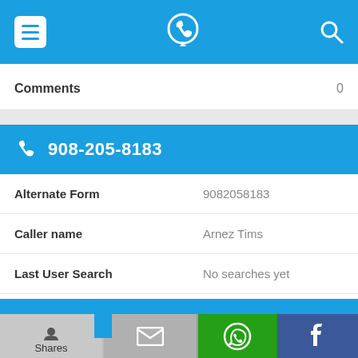[Figure (screenshot): Top navigation bar with hamburger menu, phone locator app icon, and search icon on blue background]
Comments    0
[Figure (infographic): Blue bar showing phone number 908-205-8183 with phone icon]
| Field | Value |
| --- | --- |
| Alternate Form | 9082058183 |
| Caller name | Arnez Tims |
| Last User Search | No searches yet |
| Comments | 0 |
[Figure (screenshot): Bottom share bar with Shares label, email icon, WhatsApp icon, and Facebook icon]